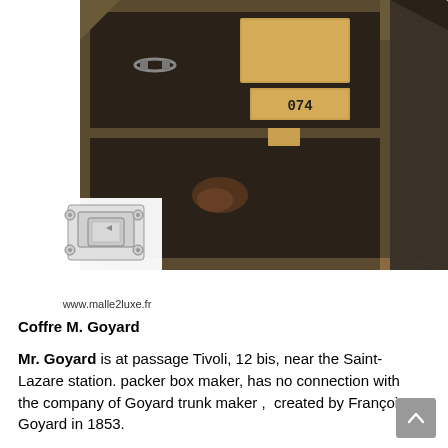[Figure (photo): A dark antique trunk/chest photographed against a white background. The trunk has metal corner reinforcements, a handle, and several labels including one showing '074'. In the lower left of the image is a small logo illustration of a trunk latch/clasp with text 'www.malle2luxe.fr' beneath it.]
Coffre M. Goyard
Mr. Goyard is at passage Tivoli, 12 bis, near the Saint-Lazare station. packer box maker, has no connection with the company of Goyard trunk maker , created by François Goyard in 1853.